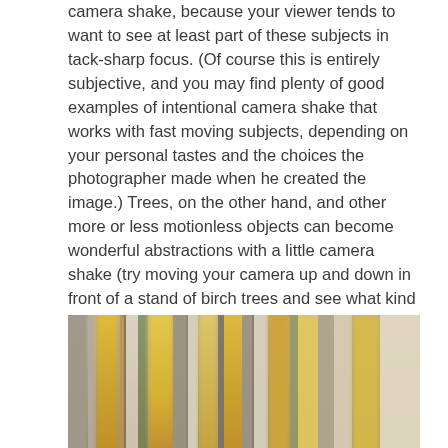camera shake, because your viewer tends to want to see at least part of these subjects in tack-sharp focus. (Of course this is entirely subjective, and you may find plenty of good examples of intentional camera shake that works with fast moving subjects, depending on your personal tastes and the choices the photographer made when he created the image.) Trees, on the other hand, and other more or less motionless objects can become wonderful abstractions with a little camera shake (try moving your camera up and down in front of a stand of birch trees and see what kind of results you get). Remember to work with lines and to think about color, since in very abstracted images this may be all that remains of your subject and setting.
[Figure (photo): Blurred abstract photo of birch trees with vertical motion blur, showing yellow, orange, green and grey streaks of color from autumn foliage and tree trunks.]